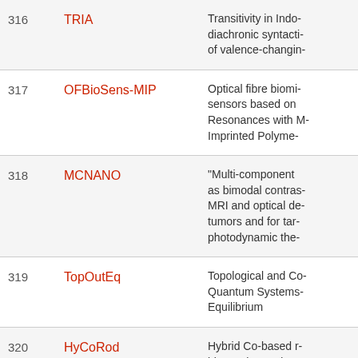| # | Acronym | Title |
| --- | --- | --- |
| 316 | TRIA | Transitivity in Indo- diachronic syntacti- of valence-changin- |
| 317 | OFBioSens-MIP | Optical fibre biomi- sensors based on Resonances with M- Imprinted Polyme- |
| 318 | MCNANO | “Multi-component as bimodal contras- MRI and optical de- tumors and for tar- photodynamic the- |
| 319 | TopOutEq | Topological and Co- Quantum Systems- Equilibrium |
| 320 | HyCoRod | Hybrid Co-based r- biosensing and cat- |